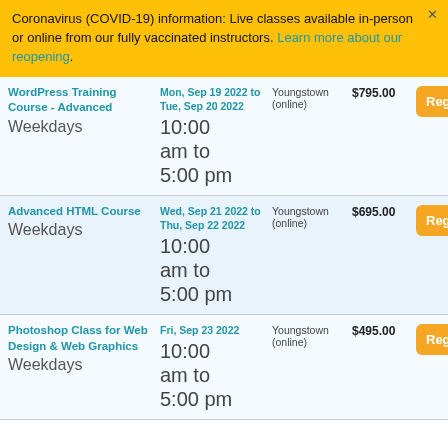Coronavirus (COVID-19) information: Live classes available in-person or online from our fully vaccinated instructors. Learn more about our reopening.
| Course | Date/Time | Location | Price |  |
| --- | --- | --- | --- | --- |
| WordPress Training Course - Advanced
Weekdays | Mon, Sep 19 2022 to Tue, Sep 20 2022
10:00 am to 5:00 pm | Youngstown (online) | $795.00 | Register |
| Advanced HTML Course
Weekdays | Wed, Sep 21 2022 to Thu, Sep 22 2022
10:00 am to 5:00 pm | Youngstown (online) | $695.00 | Register |
| Photoshop Class for Web Design & Web Graphics
Weekdays | Fri, Sep 23 2022
10:00 am to 5:00 pm | Youngstown (online) | $495.00 | Register |